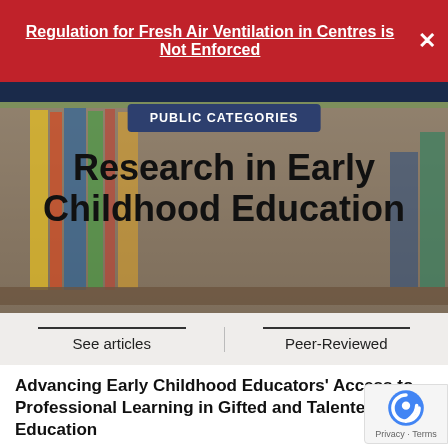Regulation for Fresh Air Ventilation in Centres is Not Enforced
[Figure (photo): Hero image of a bookshelf with educational books, overlaid with 'PUBLIC CATEGORIES' badge and title 'Research in Early Childhood Education', with 'See articles' and 'Peer-Reviewed' links at the bottom.]
Advancing Early Childhood Educators' Access to Professional Learning in Gifted and Talented Education
Advancing early childhood educators' access to professional learning in gifted and talented education.